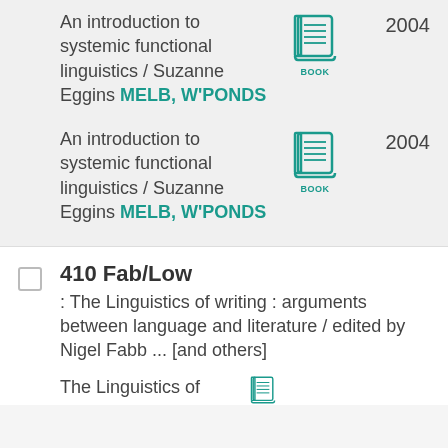An introduction to systemic functional linguistics / Suzanne Eggins MELB, W'PONDS
[Figure (illustration): Book icon with teal color and label BOOK]
2004
An introduction to systemic functional linguistics / Suzanne Eggins MELB, W'PONDS
[Figure (illustration): Book icon with teal color and label BOOK]
2004
410 Fab/Low
: The Linguistics of writing : arguments between language and literature / edited by Nigel Fabb ... [and others]
The Linguistics of
[Figure (illustration): Book icon with teal color and label BOOK (partially visible)]